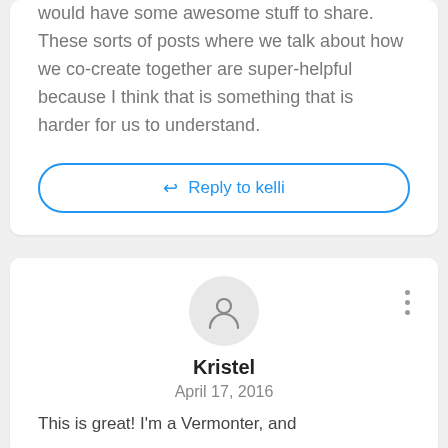would have some awesome stuff to share. These sorts of posts where we talk about how we co-create together are super-helpful because I think that is something that is harder for us to understand.
Reply to kelli
[Figure (other): User avatar placeholder circle with person icon]
Kristel
April 17, 2016
This is great! I'm a Vermonter, and